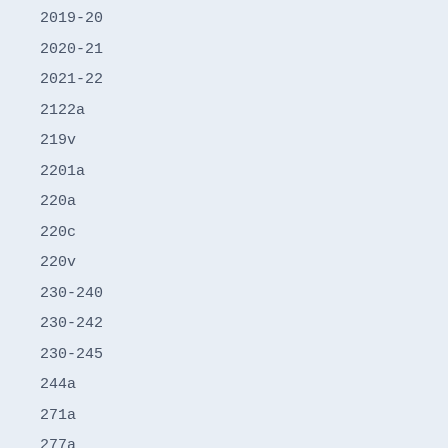2019-20
2020-21
2021-22
2122a
219v
2201a
220a
220c
220v
230-240
230-242
230-245
244a
271a
277a
279b